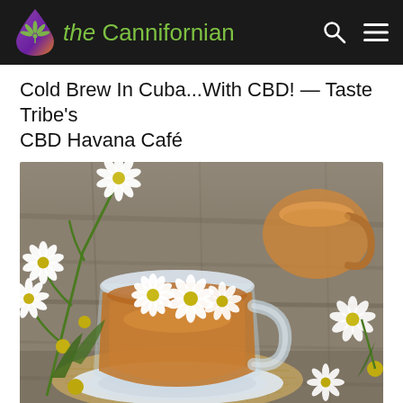the Cannifornian
Cold Brew In Cuba...With CBD! — Taste Tribe's CBD Havana Café
[Figure (photo): A glass cup and saucer filled with golden chamomile tea, with white and yellow chamomile flowers floating on top, surrounded by more chamomile flowers on a rustic wooden surface with burlap. A second glass teapot is visible in the upper right background.]